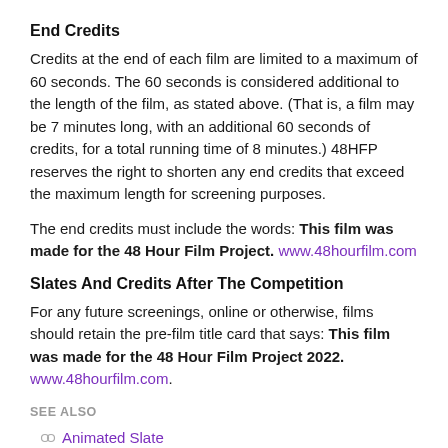End Credits
Credits at the end of each film are limited to a maximum of 60 seconds. The 60 seconds is considered additional to the length of the film, as stated above. (That is, a film may be 7 minutes long, with an additional 60 seconds of credits, for a total running time of 8 minutes.) 48HFP reserves the right to shorten any end credits that exceed the maximum length for screening purposes.
The end credits must include the words: This film was made for the 48 Hour Film Project. www.48hourfilm.com
Slates And Credits After The Competition
For any future screenings, online or otherwise, films should retain the pre-film title card that says: This film was made for the 48 Hour Film Project 2022. www.48hourfilm.com.
SEE ALSO
Animated Slate